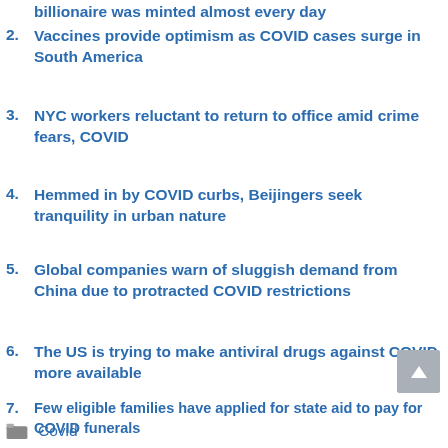1. billionaire was minted almost every day
2. Vaccines provide optimism as COVID cases surge in South America
3. NYC workers reluctant to return to office amid crime fears, COVID
4. Hemmed in by COVID curbs, Beijingers seek tranquility in urban nature
5. Global companies warn of sluggish demand from China due to protracted COVID restrictions
6. The US is trying to make antiviral drugs against COVID more available
7. Few eligible families have applied for state aid to pay for COVID funerals
8. Social cohesion as a key risk factor in early COVID infections
Covid